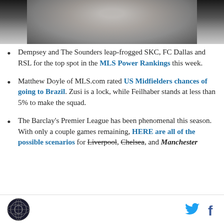[Figure (photo): Cropped sports photo showing an athlete in white jersey, partially visible from shoulders up against a blurred background]
Dempsey and The Sounders leap-frogged SKC, FC Dallas and RSL for the top spot in the MLS Power Rankings this week.
Matthew Doyle of MLS.com rated US Midfielders chances of going to Brazil. Zusi is a lock, while Feilhaber stands at less than 5% to make the squad.
The Barclay's Premier League has been phenomenal this season. With only a couple games remaining, HERE are all of the possible scenarios for Liverpool, Chelsea, and Manchester
Logo and social media icons (Twitter, Facebook)